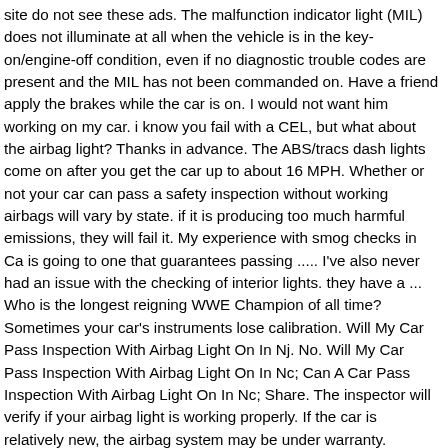site do not see these ads. The malfunction indicator light (MIL) does not illuminate at all when the vehicle is in the key-on/engine-off condition, even if no diagnostic trouble codes are present and the MIL has not been commanded on. Have a friend apply the brakes while the car is on. I would not want him working on my car. i know you fail with a CEL, but what about the airbag light? Thanks in advance. The ABS/tracs dash lights come on after you get the car up to about 16 MPH. Whether or not your car can pass a safety inspection without working airbags will vary by state. if it is producing too much harmful emissions, they will fail it. My experience with smog checks in Ca is going to one that guarantees passing ..... I've also never had an issue with the checking of interior lights. they have a ... Who is the longest reigning WWE Champion of all time? Sometimes your car's instruments lose calibration. Will My Car Pass Inspection With Airbag Light On In Nj. No. Will My Car Pass Inspection With Airbag Light On In Nc; Can A Car Pass Inspection With Airbag Light On In Nc; Share. The inspector will verify if your airbag light is working properly. If the car is relatively new, the airbag system may be under warranty. References : Repairing cars for over 40 years. Press J to jump to the feed. Cars manufactured before 1965 are exempt from seat belt requirements. Chris D Said. NO you will not pass. 2. Quote; Originally Posted by